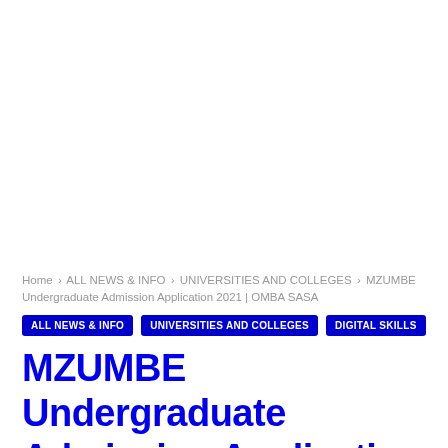Home › ALL NEWS & INFO › UNIVERSITIES AND COLLEGES › MZUMBE Undergraduate Admission Application 2021 | OMBA SASA
ALL NEWS & INFO
UNIVERSITIES AND COLLEGES
DIGITAL SKILLS
MZUMBE Undergraduate Admission Application 2021 | OMBA SASA